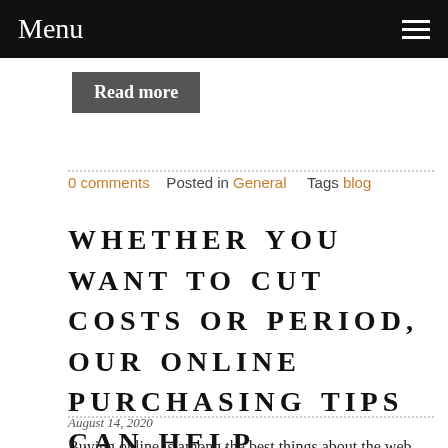Menu
Read more
0 comments   Posted in General   Tags blog
WHETHER YOU WANT TO CUT COSTS OR PERIOD, OUR ONLINE PURCHASING TIPS CAN HELP
August 14, 2020
Buying online is among the best things about the web. However, while Resource is very easy to do, you need to make sure you have the proper information to look successfully. Stick to these tips to improve your experience shopping online.